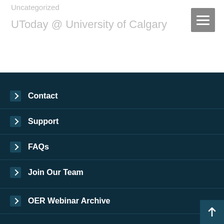Uncategorized
UToday @ University of Calgary
Contact
Support
FAQs
Join Our Team
OER Webinar Archive